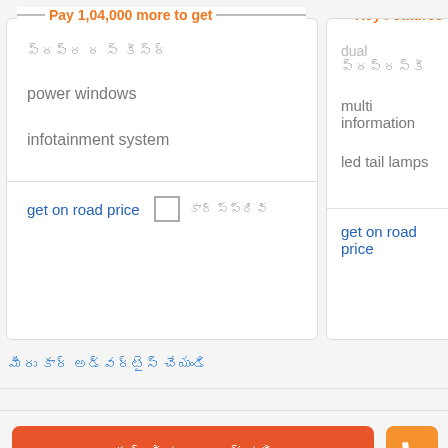Pay 1,04,000 more to get
ప్రప్ర ద స్ కీస్ర్
power windows
infotainment system
get on road price
కార్ స్ప్రివి
Key Features
dual ప్రప్రస్కీ
multi information
led tail lamps
get on road price
మీరు కార్ అడ్వర్టైస్ చేయండి
కార్ వివరాలు కోసం సమాచారం ఇవ్వండి